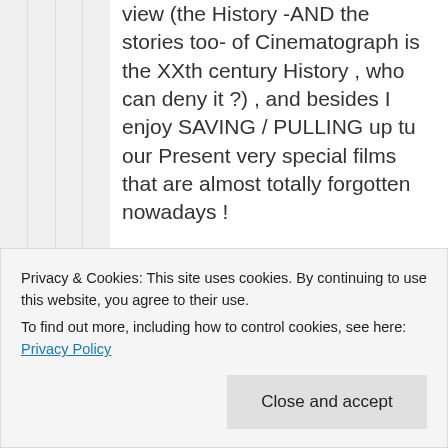view (the History -AND the stories too- of Cinematograph is the XXth century History , who can deny it ?) , and besides I enjoy SAVING / PULLING up tu our Present very special films that are almost totally forgotten nowadays !
...
Besides SILENT movies, I specially appreciate the 40's , by the way !
Like
Privacy & Cookies: This site uses cookies. By continuing to use this website, you agree to their use.
To find out more, including how to control cookies, see here: Privacy Policy
Close and accept